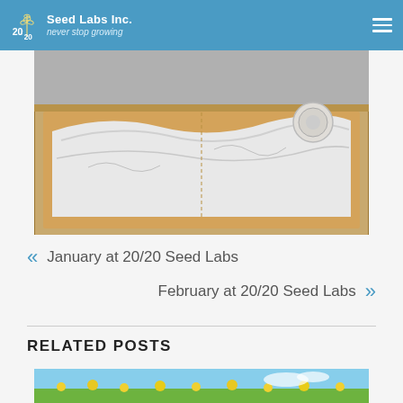20/20 Seed Labs Inc. — never stop growing
[Figure (photo): Open cardboard box containing white packaging material and a small circular container, viewed from above]
« January at 20/20 Seed Labs
February at 20/20 Seed Labs »
RELATED POSTS
[Figure (photo): Partial view of a field with yellow flowers under a blue sky]